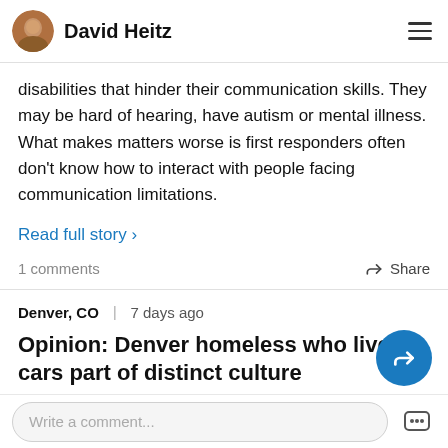David Heitz
disabilities that hinder their communication skills. They may be hard of hearing, have autism or mental illness. What makes matters worse is first responders often don't know how to interact with people facing communication limitations.
Read full story ›
1 comments
Share
Denver, CO  7 days ago
Opinion: Denver homeless who live in cars part of distinct culture
Write a comment...